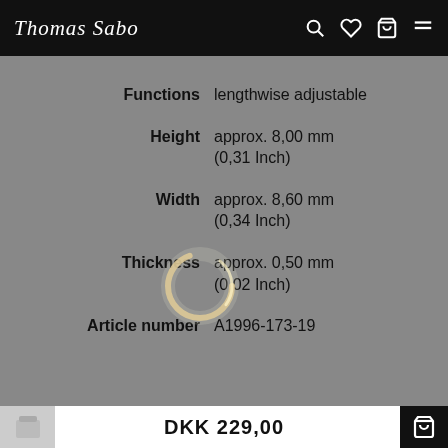Thomas Sabo
| Property | Value |
| --- | --- |
| Functions | lengthwise adjustable |
| Height | approx. 8,00 mm (0,31 Inch) |
| Width | approx. 8,60 mm (0,34 Inch) |
| Thickness | approx. 0,50 mm (0,02 Inch) |
| Article number | A1996-173-19 |
[Figure (photo): A gold ring overlay/spinner graphic shown on top of the product specification content.]
DKK 229,00